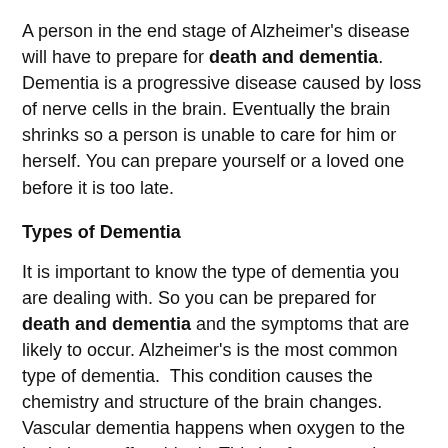A person in the end stage of Alzheimer's disease will have to prepare for death and dementia. Dementia is a progressive disease caused by loss of nerve cells in the brain. Eventually the brain shrinks so a person is unable to care for him or herself. You can prepare yourself or a loved one before it is too late.
Types of Dementia
It is important to know the type of dementia you are dealing with. So you can be prepared for death and dementia and the symptoms that are likely to occur. Alzheimer's is the most common type of dementia.  This condition causes the chemistry and structure of the brain changes. Vascular dementia happens when oxygen to the brain is cut off suddenly. This is , from a stroke or gradually from a series of mini strokes.
Dementia with Lewy bodies causes degeneration of brain tissue. People experience many other types of dementia and live with the